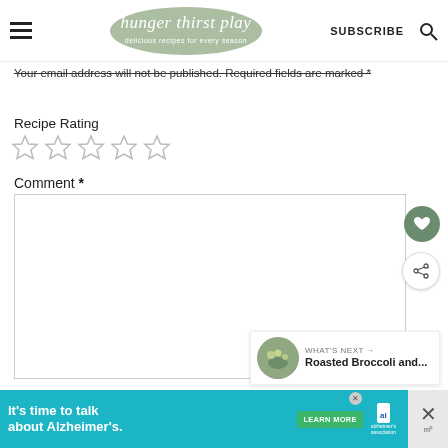[Figure (screenshot): Website header with hamburger menu, 'hunger thirst play' logo on sage green brushstroke background with tagline 'delicious recipes for every season', SUBSCRIBE text, and search icon]
Your email address will not be published. Required fields are marked *
Recipe Rating
[Figure (other): Five empty star rating icons]
Comment *
[Figure (screenshot): Comment text area input box with resize handle, floating heart and share buttons on right side, and 'WHAT'S NEXT → Roasted Broccoli and...' overlay at bottom right]
[Figure (infographic): Teal advertisement banner: "It's time to talk about Alzheimer's." with LEARN MORE button, Alzheimer's Association logo, close X button, and Mediavine logo]